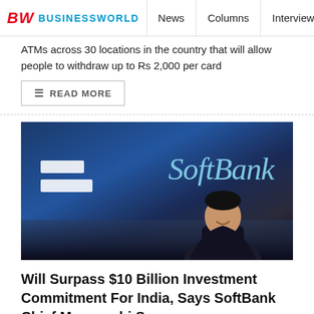BW BUSINESSWORLD | News | Columns | Interviews | BW
ATMs across 30 locations in the country that will allow people to withdraw up to Rs 2,000 per card
READ MORE
[Figure (photo): SoftBank branding backdrop with logo text 'SoftBank' and two horizontal white bars on left, with a person (Masayoshi Son) smiling in the lower right portion of the image, against a dark blue gradient background.]
Will Surpass $10 Billion Investment Commitment For India, Says SoftBank Chief Masayoshi Son